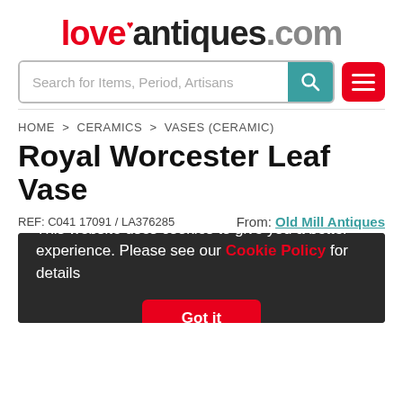loveantiques.com
Search for Items, Period, Artisans
HOME > CERAMICS > VASES (CERAMIC)
Royal Worcester Leaf Vase
REF: C041 17091 / LA376285   From: Old Mill Antiques
This website uses cookies to give you a better experience. Please see our Cookie Policy for details